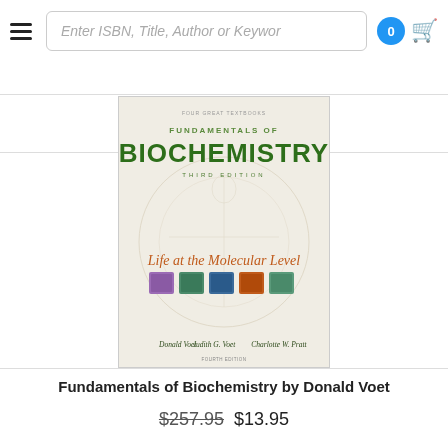Enter ISBN, Title, Author or Keyword
Related Products
[Figure (photo): Book cover of Fundamentals of Biochemistry, Third Edition: Life at the Molecular Level by Donald Voet, Judith G. Voet, Charlotte W. Pratt]
Fundamentals of Biochemistry by Donald Voet
$257.95 $13.95